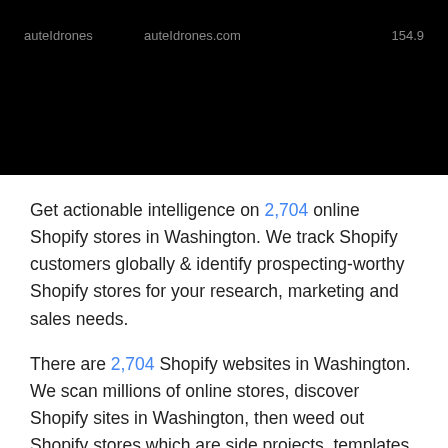[Figure (screenshot): Cropped screenshot of a web table showing columns: auteIdrones, auteIdrones.com, 154.9 (partial). The background is black/dark.]
Get actionable intelligence on 2,704 online Shopify stores in Washington. We track Shopify customers globally & identify prospecting-worthy Shopify stores for your research, marketing and sales needs.
There are 2,704 Shopify websites in Washington. We scan millions of online stores, discover Shopify sites in Washington, then weed out Shopify stores which are side projects, templates and such to create the final curated list of prospecting-worthy Shopify leads.
Cartinsight then adds deep intelligence to every (partial, cut off)